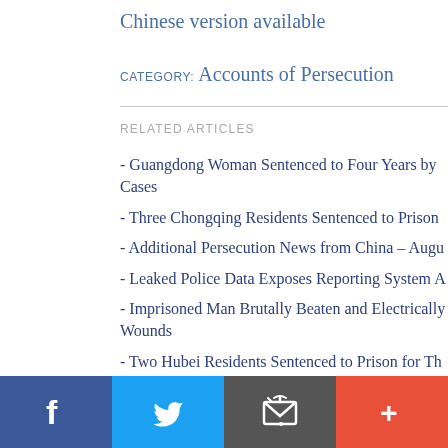Chinese version available
CATEGORY: Accounts of Persecution
RELATED ARTICLES
- Guangdong Woman Sentenced to Four Years by Cases
- Three Chongqing Residents Sentenced to Prison
- Additional Persecution News from China – Augu
- Leaked Police Data Exposes Reporting System A
- Imprisoned Man Brutally Beaten and Electrically Wounds
- Two Hubei Residents Sentenced to Prison for Th